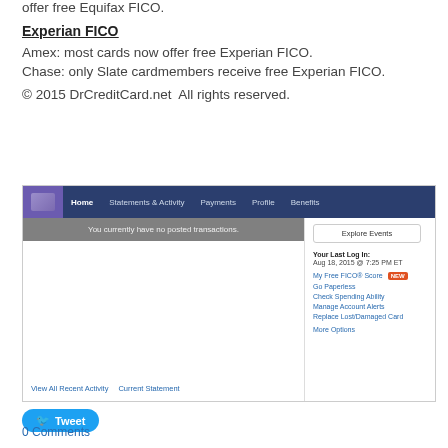offer free Equifax FICO.
Experian FICO
Amex: most cards now offer free Experian FICO.
Chase: only Slate cardmembers receive free Experian FICO.
© 2015 DrCreditCard.net  All rights reserved.
[Figure (screenshot): Screenshot of an American Express online account dashboard showing navigation bar with Home, Statements & Activity, Payments, Profile, Benefits tabs; a message 'You currently have no posted transactions.'; sidebar showing last login Aug 18, 2015 @ 7:25 PM ET; My Free FICO Score (NEW badge), Go Paperless, Check Spending Ability, Manage Account Alerts, Replace Lost/Damaged Card, More Options links; View All Recent Activity and Current Statement links at bottom.]
Tweet
0 Comments